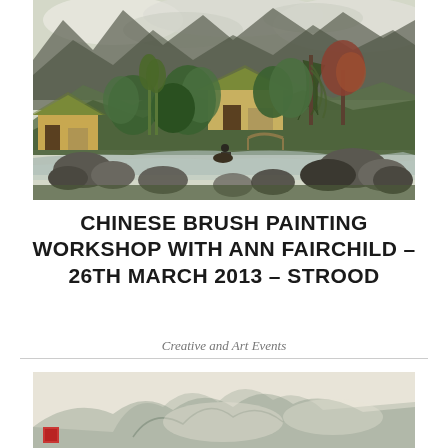[Figure (illustration): Chinese brush painting showing traditional landscape with pavilions, willow trees, mountains, rocks, and a figure on horseback near a stream]
CHINESE BRUSH PAINTING WORKSHOP WITH ANN FAIRCHILD – 26TH MARCH 2013 – STROOD
Creative and Art Events
[Figure (illustration): Chinese brush painting in monochrome style showing mountains and minimal landscape elements with a red seal stamp]